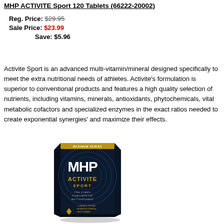MHP ACTIVITE Sport 120 Tablets (66222-20002)
Reg. Price: $29.95
Sale Price: $23.99
Save: $5.96
Activite Sport is an advanced multi-vitamin/mineral designed specifically to meet the extra nutritional needs of athletes. Activite's formulation is superior to conventional products and features a high quality selection of nutrients, including vitamins, minerals, antioxidants, phytochemicals, vital metabolic cofactors and specialized enzymes in the exact ratios needed to create exponential synergies' and maximize their effects.
[Figure (photo): MHP Activite Sport 120 Tablets product box — dark navy/black box with gold MHP logo and yellow ACTIVITE SPORT text, with blue concentric circular design elements]